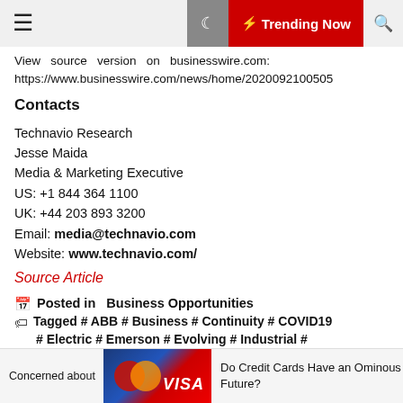Trending Now
View source version on businesswire.com: https://www.businesswire.com/news/home/2020092100505
Contacts
Technavio Research
Jesse Maida
Media & Marketing Executive
US: +1 844 364 1100
UK: +44 203 893 3200
Email: media@technavio.com
Website: www.technavio.com/
Source Article
Posted in  Business Opportunities
Tagged # ABB # Business # Continuity # COVID19
# Electric # Emerson # Evolving # Industrial #
Concerned about  Do Credit Cards Have an Ominous Future?